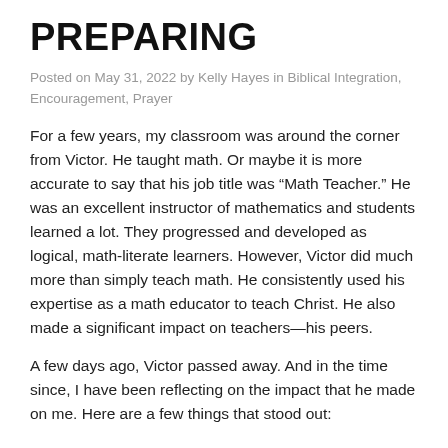PREPARING
Posted on May 31, 2022 by Kelly Hayes in Biblical Integration, Encouragement, Prayer
For a few years, my classroom was around the corner from Victor. He taught math. Or maybe it is more accurate to say that his job title was “Math Teacher.” He was an excellent instructor of mathematics and students learned a lot. They progressed and developed as logical, math-literate learners. However, Victor did much more than simply teach math. He consistently used his expertise as a math educator to teach Christ. He also made a significant impact on teachers—his peers.
A few days ago, Victor passed away. And in the time since, I have been reflecting on the impact that he made on me. Here are a few things that stood out: